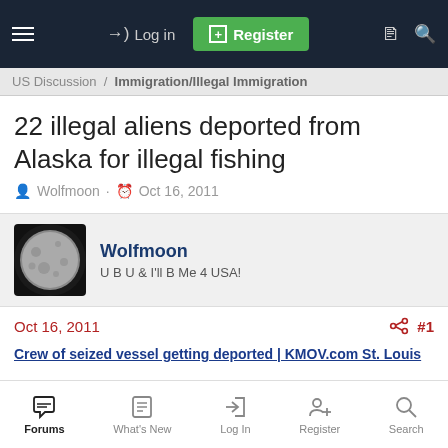Log in  Register
US Discussion  Immigration/Illegal Immigration
22 illegal aliens deported from Alaska for illegal fishing
Wolfmoon · Oct 16, 2011
Wolfmoon
U B U & I'll B Me 4 USA!
Oct 16, 2011  #1
Crew of seized vessel getting deported | KMOV.com St. Louis
Wednesday, Oct 12, 2011
JUNEAU, Alaska &#8212; ICE reported 22 illegal aliens including a miles...
Forums  What's New  Log In  Register  Search